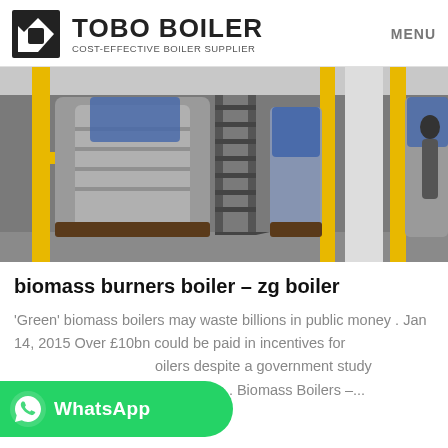TOBO BOILER COST-EFFECTIVE BOILER SUPPLIER | MENU
[Figure (photo): Industrial boiler room showing large cylindrical boilers with yellow pipes, metal staircases, and industrial equipment in a factory setting.]
biomass burners boiler – zg boiler
'Green' biomass boilers may waste billions in public money . Jan 14, 2015 Over £10bn could be paid in incentives for boilers despite a government study efficient than . Biomass Boilers –...